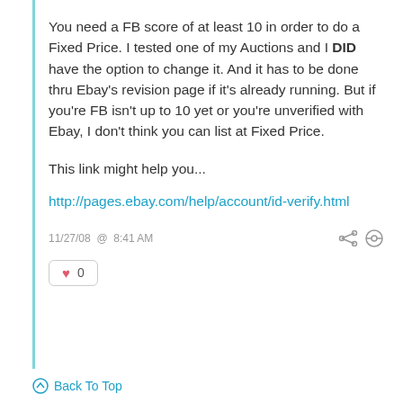You need a FB score of at least 10 in order to do a Fixed Price. I tested one of my Auctions and I DID have the option to change it. And it has to be done thru Ebay's revision page if it's already running. But if you're FB isn't up to 10 yet or you're unverified with Ebay, I don't think you can list at Fixed Price.
This link might help you...
http://pages.ebay.com/help/account/id-verify.html
11/27/08 @ 8:41 AM
0
Back To Top